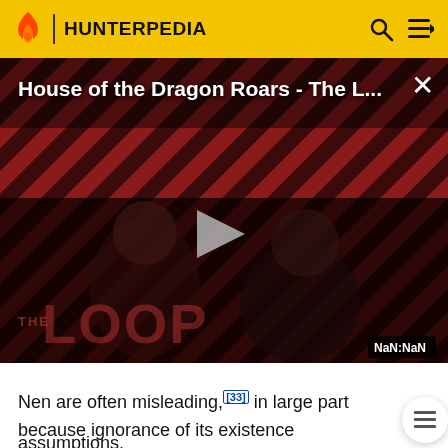HUNTERPEDIA
[Figure (screenshot): Video thumbnail for 'House of the Dragon Roars - The L...' showing two figures against a diagonal striped red and dark background with THE LOOP logo overlay, a play button in the center, and NaN:NaN time display in the bottom right corner.]
Nen are often misleading,[33] in large part because ignorance of its existence necessarily leads to incorrect assumptions.
Some non-users who hear of Nen believe it to be no more than a mental technique to gain a small boost in physical